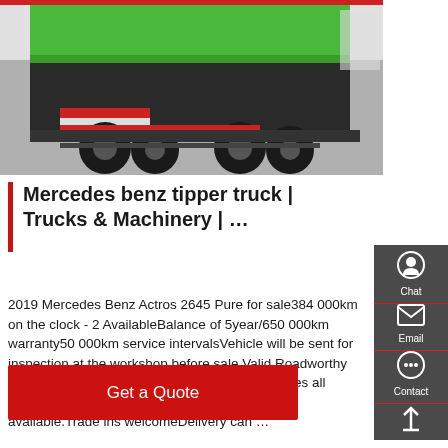[Figure (photo): Photo of a green Mercedes Benz tipper truck from the rear, showing large wheels and truck undercarriage at what appears to be a machinery expo]
Mercedes benz tipper truck | Trucks & Machinery | …
2019 Mercedes Benz Actros 2645 Pure for sale384 000km on the clock - 2 AvailableBalance of 5year/650 000km warranty50 000km service intervalsVehicle will be sent for inspection at the workshop before sale.Valid Roadworthy will be supplied.All round good conditionNew tyres all roundPriced a t R1 470 000 vatIn house finance available.Trade ins welcomeDelivery can …
Get a Quote